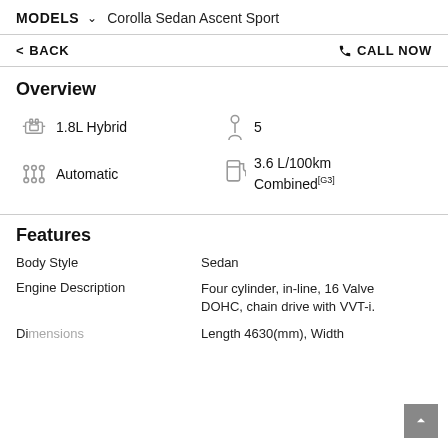MODELS ∨  Corolla Sedan Ascent Sport
< BACK    ☎ CALL NOW
Overview
1.8L Hybrid
5
Automatic
3.6 L/100km Combined[G3]
Features
Body Style: Sedan
Engine Description: Four cylinder, in-line, 16 Valve DOHC, chain drive with VVT-i.
Dimensions: Length 4630(mm), Width